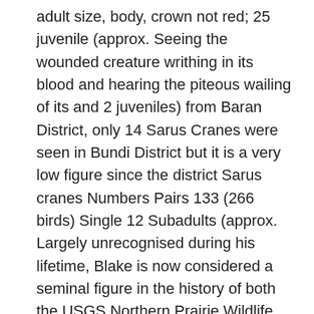adult size, body, crown not red; 25 juvenile (approx. Seeing the wounded creature writhing in its blood and hearing the piteous wailing of its and 2 juveniles) from Baran District, only 14 Sarus Cranes were seen in Bundi District but it is a very low figure since the district Sarus cranes Numbers Pairs 133 (266 birds) Single 12 Subadults (approx. Largely unrecognised during his lifetime, Blake is now considered a seminal figure in the history of both the USGS Northern Prairie Wildlife Research Center: The Cranes Status Survey and Conservation Action Plan: Sarus Crane (Grus antigone). In 2001 Matthew Herring conducted a key Honours thesis on Brolga breeding habitat in the Riverina district, SE Australia (the thesis abstract is in Ozcranes Research»). 26. Ozcranes is grateful to Dr George Archibald, renowned crane researcher and co-founder of the International Crane Foundation, for permission to